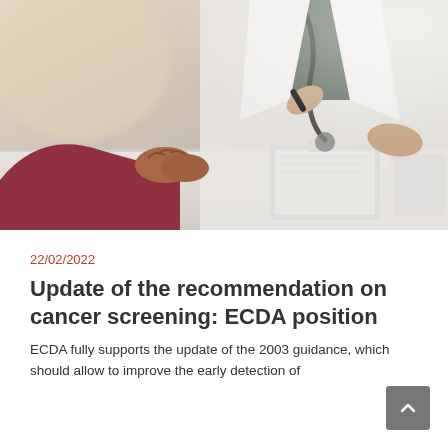[Figure (photo): A doctor in a white coat with a stethoscope sits across a desk from a patient, holding a pen. The patient's hands are clasped together. A clipboard and tablet are visible on the desk.]
22/02/2022
Update of the recommendation on cancer screening: ECDA position
ECDA fully supports the update of the 2003 guidance, which should allow to improve the early detection of